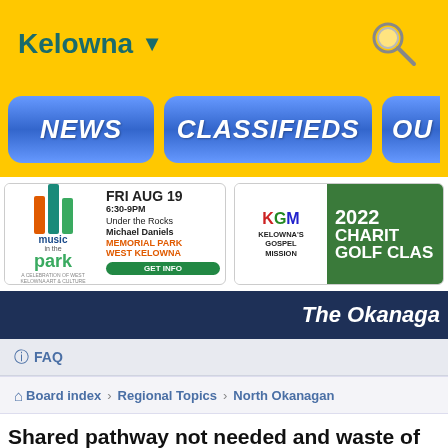Kelowna ▼
[Figure (screenshot): Navigation bar with NEWS, CLASSIFIEDS, and partial third button on yellow background]
[Figure (infographic): Music in the Park ad - FRI AUG 19, 6:30-9PM, Under the Rocks, Michael Daniels, MEMORIAL PARK, WEST KELOWNA, GET INFO]
[Figure (infographic): Kelowna Gospel Mission 2022 Charity Golf Classic ad]
The Okanaga
FAQ
Board index › Regional Topics › North Okanagan
Shared pathway not needed and waste of taxpayer